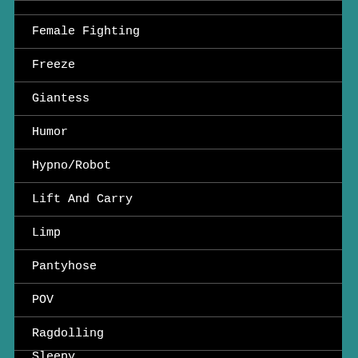Female Fighting
Freeze
Giantess
Humor
Hypno/Robot
Lift And Carry
Limp
Pantyhose
POV
Ragdolling
Sleepy